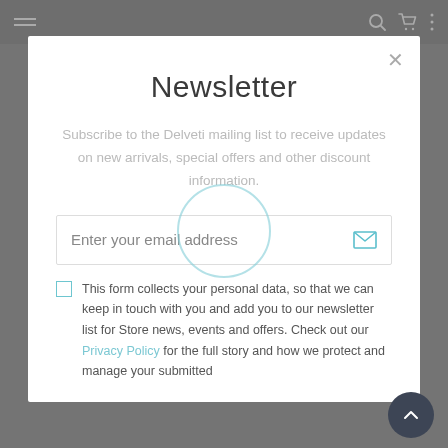[Figure (screenshot): Website navigation bar with hamburger menu, search icon, cart icon, and more options icon on a grey background]
Newsletter
Subscribe to the Delveti mailing list to receive updates on new arrivals, special offers and other discount information.
Enter your email address
This form collects your personal data, so that we can keep in touch with you and add you to our newsletter list for Store news, events and offers. Check out our Privacy Policy for the full story and how we protect and manage your submitted